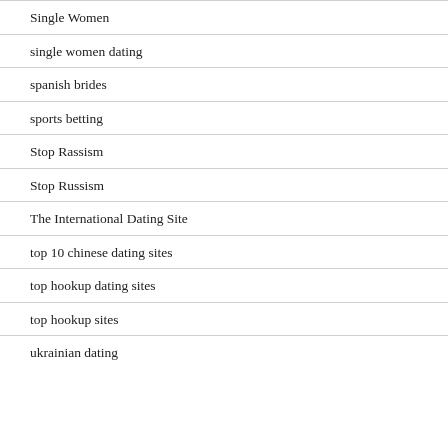Single Women
single women dating
spanish brides
sports betting
Stop Rassism
Stop Russism
The International Dating Site
top 10 chinese dating sites
top hookup dating sites
top hookup sites
ukrainian dating